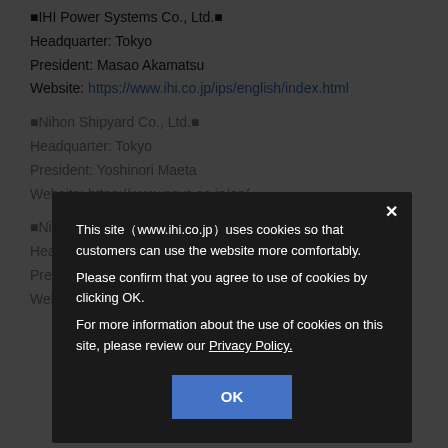■IHI Power Systems Co., Ltd.■
Headquarter: Tokyo
President: Masao Akamatsu
Website: https://www.ihi.co.jp/ips/english/index.html
■Nihon Shipyard Co., Ltd.■
Headquarter: Tokyo
President: Yoshinori Maeta
Website: https://www.nsys.co.jp/en/
■Nippon Kaiji Kyokai (ClassNK)■
Headquarter: Tokyo
President: Koichi Fujiwara Matsushita
Website: https://www.classnk.or.jp/
[Figure (screenshot): Cookie consent modal overlay on IHI website. Dark semi-transparent background overlays the page content. Modal dialog with dark background contains: close (×) button, text explaining cookie usage on www.ihi.co.jp, text asking user to confirm cookie agreement by clicking OK, link to Privacy Policy, and a blue OK button.]